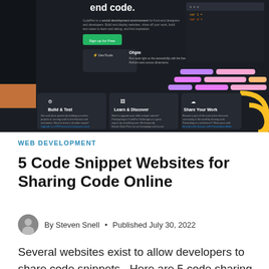[Figure (screenshot): Screenshot of CodePen website showing dark UI with 'end code.' heading, description text, sign up button, DevTools and Ohpie sections, and feature sections: Build & Test, Learn & Discover, Share Your Work, with colorful decorative elements]
WEB DEVELOPMENT
5 Code Snippet Websites for Sharing Code Online
By Steven Snell • Published July 30, 2022
Several websites exist to allow developers to share code snippets . Here are 5 code sharing websites that...